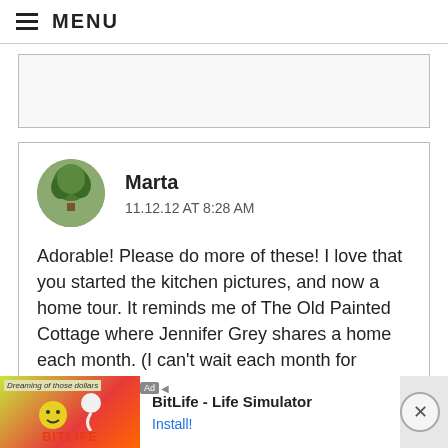MENU
[Figure (other): Empty bordered placeholder box, likely an advertisement or image area]
Marta
11.12.12 AT 8:28 AM

Adorable! Please do more of these! I love that you started the kitchen pictures, and now a home tour. It reminds me of The Old Painted Cottage where Jennifer Grey shares a home each month. (I can't wait each month for someone's home tour.) I love your houses that you find, and now sharing the inside is
[Figure (screenshot): Advertisement banner for BitLife - Life Simulator app with Ad label, colorful game graphic, app name, and Install button]